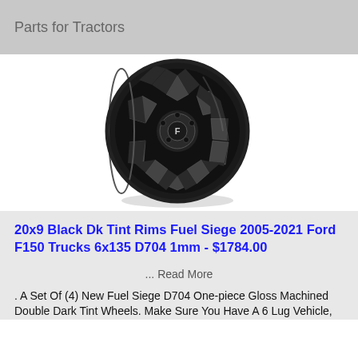Parts for Tractors
[Figure (photo): Black and dark tint machined alloy wheel (Fuel Siege D704), viewed at an angle showing the geometric spoke pattern and center cap with 'F' logo.]
20x9 Black Dk Tint Rims Fuel Siege 2005-2021 Ford F150 Trucks 6x135 D704 1mm - $1784.00
... Read More
. A Set Of (4) New Fuel Siege D704 One-piece Gloss Machined Double Dark Tint Wheels. Make Sure You Have A 6 Lug Vehicle,